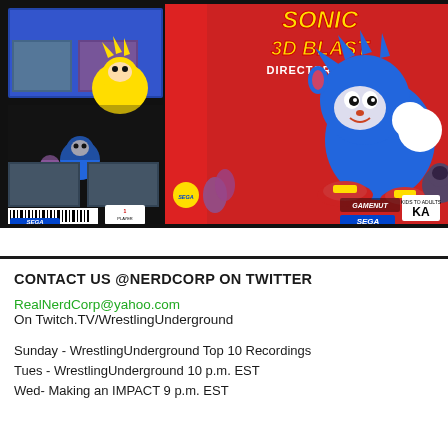[Figure (photo): Sonic 3D Blast Director's Cut Sega Genesis game box art showing Sonic the Hedgehog running, with SEGA and GAMENUT logos, rated K-A]
CONTACT US @NERDCORP ON TWITTER
RealNerdCorp@yahoo.com
On Twitch.TV/WrestlingUnderground
Sunday - WrestlingUnderground Top 10 Recordings
Tues - WrestlingUnderground 10 p.m. EST
Wed- Making an IMPACT 9 p.m. EST